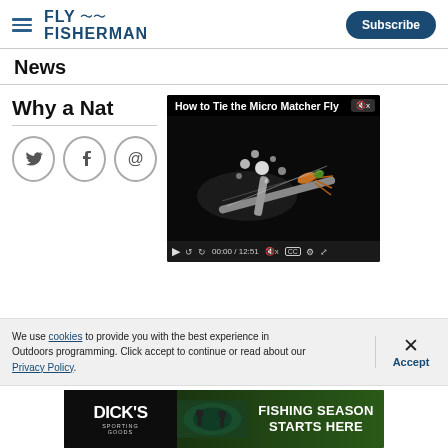FLY FISHERMAN | Subscribe
News
Why a Nat…
[Figure (screenshot): Video player showing 'How to Tie the Micro Matcher Fly' with a fly tying image. Duration 12:51, currently at 00:00.]
We use cookies to provide you with the best experience in Outdoors programming. Click accept to continue or read about our Privacy Policy.
[Figure (photo): Dick's Sporting Goods advertisement banner: FISHING SEASON STARTS HERE]